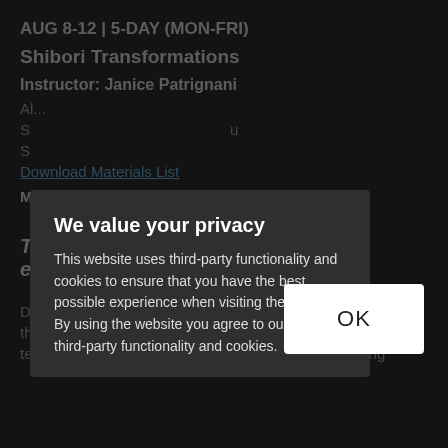AUG 8-12 | 5-DAY (MON-FRI)
Shibori Transformations
Instructor: Janice Patrignani
Al...
S...
S...
Download Materials List
More details
This workshop is no longer open for enrollment
Dyeing to discover a new skill? Instructor who will facilitate the ancient Japanese fiber art of resist dyeing using techniques such as stitching, binding, folding, clamping
We value your privacy
This website uses third-party functionality and cookies to ensure that you have the best possible experience when visiting the website. By using the website you agree to our use of third-party functionality and cookies.
OK